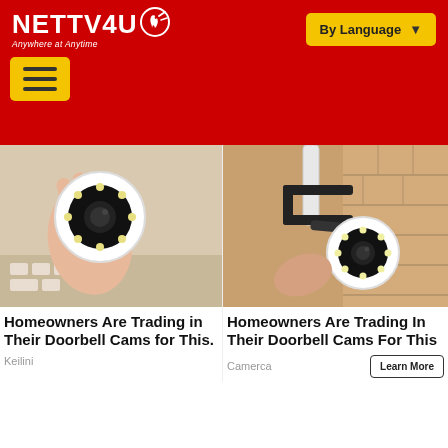[Figure (logo): NETTV4U logo with red background, white text, and tagline 'Anywhere at Anytime']
[Figure (screenshot): Yellow 'By Language' dropdown button on red header]
[Figure (screenshot): Yellow hamburger menu button on red navigation bar]
[Figure (photo): Hand holding a white round security camera with LED ring]
Homeowners Are Trading in Their Doorbell Cams for This.
Keilini
[Figure (photo): White security camera mounted on a wall bracket outdoors]
Homeowners Are Trading In Their Doorbell Cams For This
Camerca
Learn More